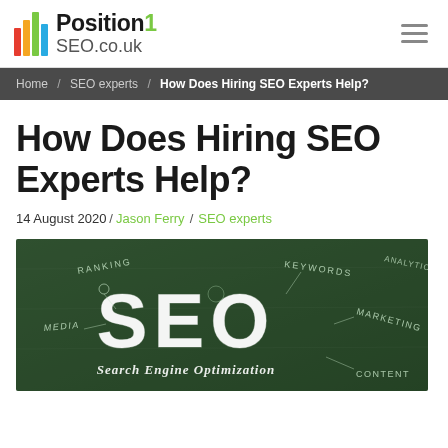Position1 SEO.co.uk
Home / SEO experts / How Does Hiring SEO Experts Help?
How Does Hiring SEO Experts Help?
14 August 2020/ Jason Ferry / SEO experts
[Figure (photo): Chalkboard image with large text 'SEO' and subtitle 'Search Engine Optimization', with surrounding keyword labels: Ranking, Keywords, Media, Marketing, Content, Analytics]